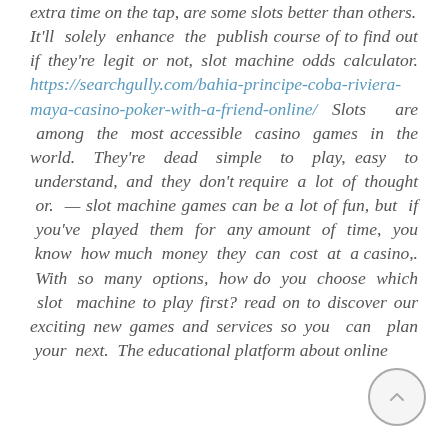extra time on the tap, are some slots better than others. It'll solely enhance the publish course of to find out if they're legit or not, slot machine odds calculator. https://searchgully.com/bahia-principe-coba-riviera-maya-casino-poker-with-a-friend-online/ Slots are among the most accessible casino games in the world. They're dead simple to play, easy to understand, and they don't require a lot of thought or. — slot machine games can be a lot of fun, but if you've played them for any amount of time, you know how much money they can cost at a casino,. With so many options, how do you choose which slot machine to play first? read on to discover our exciting new games and services so you can plan your next. The educational platform about online